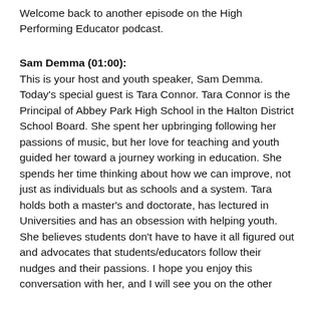Welcome back to another episode on the High Performing Educator podcast.
Sam Demma (01:00):
This is your host and youth speaker, Sam Demma. Today's special guest is Tara Connor. Tara Connor is the Principal of Abbey Park High School in the Halton District School Board. She spent her upbringing following her passions of music, but her love for teaching and youth guided her toward a journey working in education. She spends her time thinking about how we can improve, not just as individuals but as schools and a system. Tara holds both a master's and doctorate, has lectured in Universities and has an obsession with helping youth. She believes students don't have to have it all figured out and advocates that students/educators follow their nudges and their passions. I hope you enjoy this conversation with her, and I will see you on the other